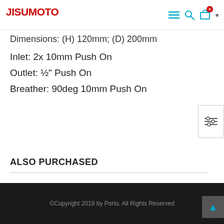JisuMoto
Dimensions: (H) 120mm; (D) 200mm
Inlet: 2x 10mm Push On
Outlet: ½" Push On
Breather: 90deg 10mm Push On
ALSO PURCHASED
©Copyright 2019 by Porto. All Rights Reserved